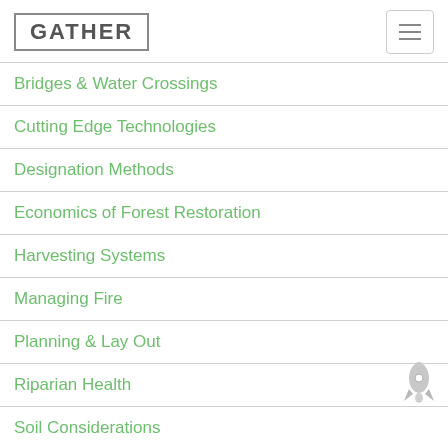GATHER
Bridges & Water Crossings
Cutting Edge Technologies
Designation Methods
Economics of Forest Restoration
Harvesting Systems
Managing Fire
Planning & Lay Out
Riparian Health
Soil Considerations
[Figure (illustration): Rocket ship icon in light gray]